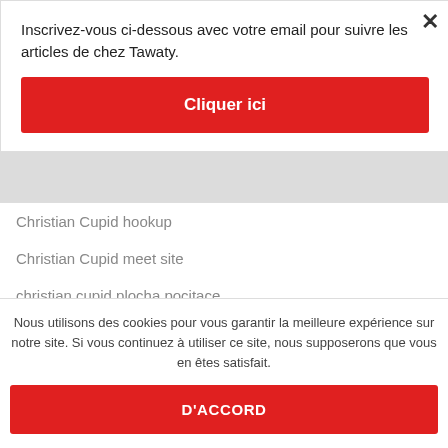Inscrivez-vous ci-dessous avec votre email pour suivre les articles de chez Tawaty.
Cliquer ici
Christian Cupid hookup
Christian Cupid meet site
christian cupid plocha pocitace
christian cupid registrati
Nous utilisons des cookies pour vous garantir la meilleure expérience sur notre site. Si vous continuez à utiliser ce site, nous supposerons que vous en êtes satisfait.
D'ACCORD